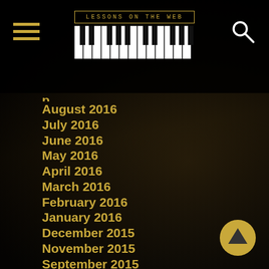[Figure (logo): Lessons on the Web logo with piano keyboard graphic, golden text on black background]
August 2016
July 2016
June 2016
May 2016
April 2016
March 2016
February 2016
January 2016
December 2015
November 2015
September 2015
August 2015
June 2015
February 2015
January 2015